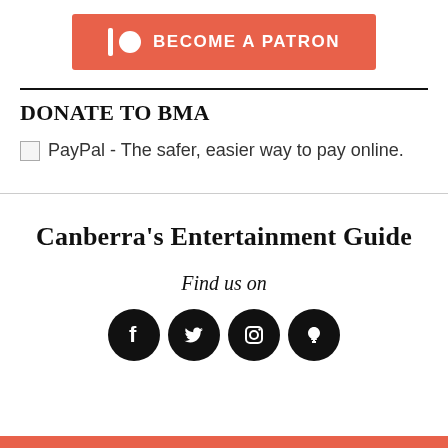[Figure (other): Patreon button — red/salmon background with Patreon icon (vertical bar and circle) and text BECOME A PATRON in white bold capitals]
DONATE TO BMA
[Figure (other): PayPal donation button placeholder — broken image icon followed by text: PayPal - The safer, easier way to pay online.]
Canberra's Entertainment Guide
Find us on
[Figure (other): Four circular black social media icons: Facebook, Twitter, Instagram, and a fourth (possibly Stitcher or podcast)]